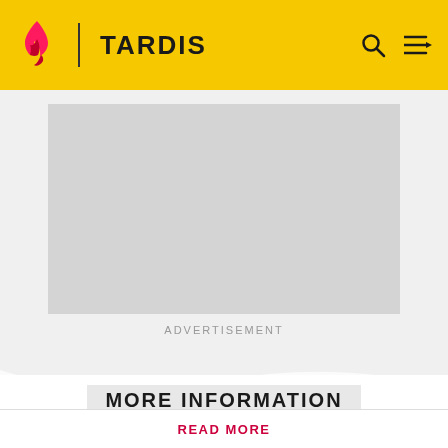[Figure (logo): TARDIS website header with flame logo, TARDIS text, search and menu icons on yellow background]
[Figure (other): Gray advertisement placeholder box]
ADVERTISEMENT
MORE INFORMATION
Spoilers are precisely defined here. Rules vary by the story's medium. Info from television stories can't be added here
READ MORE